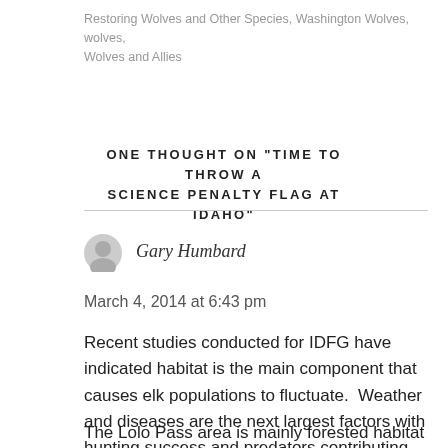Restoring Wolves and Other Species, Washington Wolves, wolves, Wolves and Allies
ONE THOUGHT ON "TIME TO THROW A SCIENCE PENALTY FLAG AT IDAHO"
Gary Humbard
March 4, 2014 at 6:43 pm
Recent studies conducted for IDFG have indicated habitat is the main component that causes elk populations to fluctuate.  Weather and diseases are the next largest factors with hunting success and predators contributing the least amount of mortality.
The Lolo Pass area is mainly forested habitat that